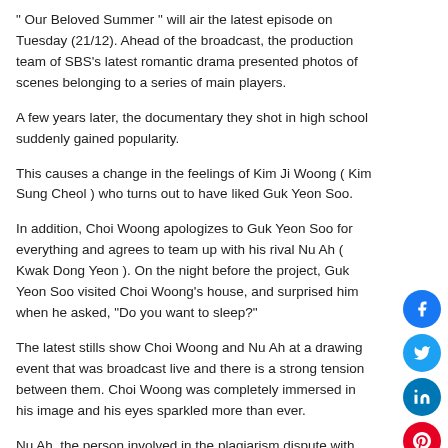" Our Beloved Summer " will air the latest episode on Tuesday (21/12). Ahead of the broadcast, the production team of SBS's latest romantic drama presented photos of scenes belonging to a series of main players.
A few years later, the documentary they shot in high school suddenly gained popularity.
This causes a change in the feelings of Kim Ji Woong ( Kim Sung Cheol ) who turns out to have liked Guk Yeon Soo.
In addition, Choi Woong apologizes to Guk Yeon Soo for everything and agrees to team up with his rival Nu Ah ( Kwak Dong Yeon ). On the night before the project, Guk Yeon Soo visited Choi Woong's house, and surprised him when he asked, "Do you want to sleep?"
The latest stills show Choi Woong and Nu Ah at a drawing event that was broadcast live and there is a strong tension between them. Choi Woong was completely immersed in his image and his eyes sparkled more than ever.
Nu Ah, the person involved in the plagiarism dispute with Choi Woong, also focused on the illustrations. Guk Yeon Soo's eyes were